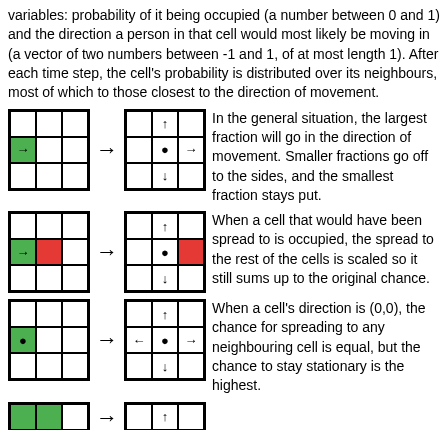variables: probability of it being occupied (a number between 0 and 1) and the direction a person in that cell would most likely be moving in (a vector of two numbers between -1 and 1, of at most length 1). After each time step, the cell's probability is distributed over its neighbours, most of which to those closest to the direction of movement.
[Figure (illustration): Two 3x3 grids showing cell spread: left grid has a green cell with right arrow in center-left; right grid shows arrows pointing up, right, staying (dot), and down in the direction cells, illustrating probability distribution to neighbours.]
In the general situation, the largest fraction will go in the direction of movement. Smaller fractions go off to the sides, and the smallest fraction stays put.
[Figure (illustration): Two 3x3 grids: left grid has green cell with right arrow and red cell to its right; right grid shows red cell blocked on right with arrows up, dot, and down.]
When a cell that would have been spread to is occupied, the spread to the rest of the cells is scaled so it still sums up to the original chance.
[Figure (illustration): Two 3x3 grids: left grid has green cell with dot (0,0 direction); right grid shows arrows pointing left, up, dot center, right, and down — equal spread in all directions.]
When a cell's direction is (0,0), the chance for spreading to any neighbouring cell is equal, but the chance to stay stationary is the highest.
[Figure (illustration): Partial view of another pair of 3x3 grids at bottom of page, cut off.]